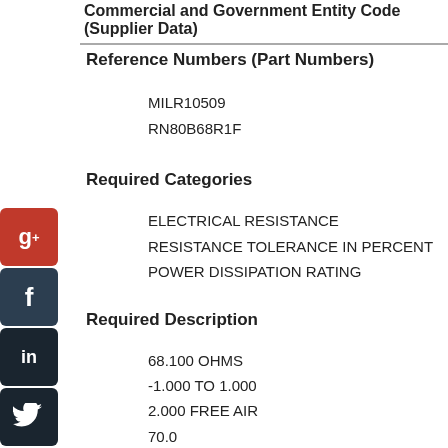Commercial and Government Entity Code (Supplier Data)
Reference Numbers (Part Numbers)
MILR10509
RN80B68R1F
Required Categories
ELECTRICAL RESISTANCE
RESISTANCE TOLERANCE IN PERCENT
POWER DISSIPATION RATING
[Figure (other): Social media icons: Google+, Facebook, LinkedIn, Twitter, a people-network icon, and StumbleUpon]
Required Description
68.100 OHMS
-1.000 TO 1.000
2.000 FREE AIR
70.0
150.0
-500.0 TO 500.0
-55